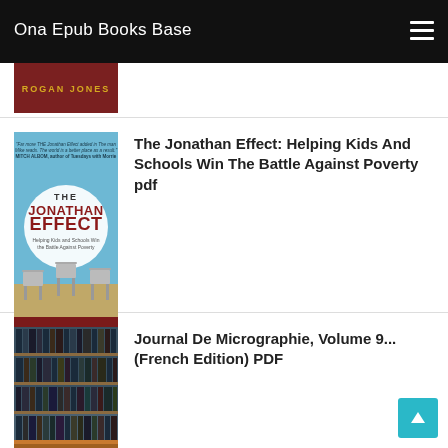Ona Epub Books Base
[Figure (illustration): Partial book cover showing 'ROGAN JONES' text in gold on dark red/maroon background]
[Figure (illustration): Book cover of 'The Jonathan Effect: Helping Kids And Schools Win The Battle Against Poverty' by Mike Tenbusch — light blue background with school chairs and circular logo]
The Jonathan Effect: Helping Kids And Schools Win The Battle Against Poverty pdf
[Figure (photo): Book cover of 'Journal De Micrographie, Volume 9... (French Edition)' showing library shelves filled with dark-spined books]
Journal De Micrographie, Volume 9... (French Edition) PDF